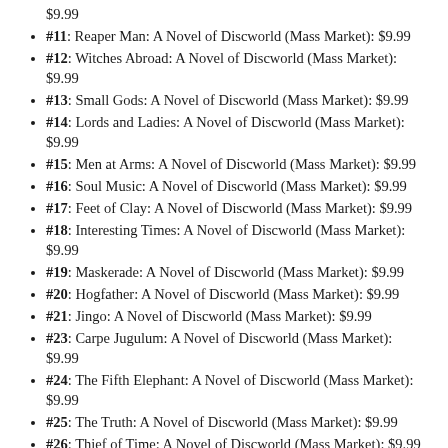$9.99
#11: Reaper Man: A Novel of Discworld (Mass Market): $9.99
#12: Witches Abroad: A Novel of Discworld (Mass Market): $9.99
#13: Small Gods: A Novel of Discworld (Mass Market): $9.99
#14: Lords and Ladies: A Novel of Discworld (Mass Market): $9.99
#15: Men at Arms: A Novel of Discworld (Mass Market): $9.99
#16: Soul Music: A Novel of Discworld (Mass Market): $9.99
#17: Feet of Clay: A Novel of Discworld (Mass Market): $9.99
#18: Interesting Times: A Novel of Discworld (Mass Market): $9.99
#19: Maskerade: A Novel of Discworld (Mass Market): $9.99
#20: Hogfather: A Novel of Discworld (Mass Market): $9.99
#21: Jingo: A Novel of Discworld (Mass Market): $9.99
#23: Carpe Jugulum: A Novel of Discworld (Mass Market): $9.99
#24: The Fifth Elephant: A Novel of Discworld (Mass Market): $9.99
#25: The Truth: A Novel of Discworld (Mass Market): $9.99
#26: Thief of Time: A Novel of Discworld (Mass Market): $9.99
#27: The Last Hero: A Discworld Fable (Paperback): $21.99